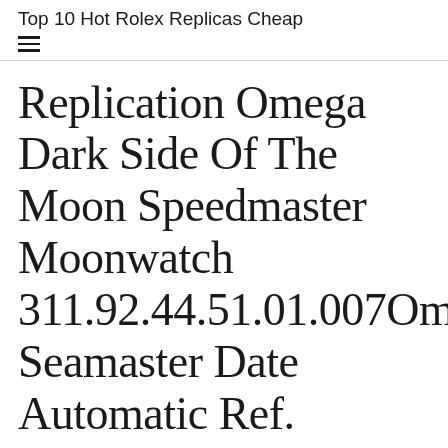Top 10 Hot Rolex Replicas Cheap
Replication Omega Dark Side Of The Moon Speedmaster Moonwatch 311.92.44.51.01.007Omega Seamaster Date Automatic Ref. 14760SC Tropical Patina Dial Vintage Top conditions